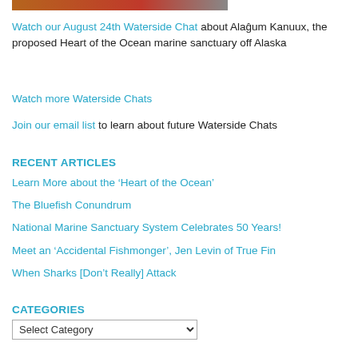[Figure (photo): Partial image at top of page, appears to show wooden surface with red element]
Watch our August 24th Waterside Chat about Alaĝum Kanuux, the proposed Heart of the Ocean marine sanctuary off Alaska
Watch more Waterside Chats
Join our email list to learn about future Waterside Chats
RECENT ARTICLES
Learn More about the ‘Heart of the Ocean’
The Bluefish Conundrum
National Marine Sanctuary System Celebrates 50 Years!
Meet an ‘Accidental Fishmonger’, Jen Levin of True Fin
When Sharks [Don’t Really] Attack
CATEGORIES
Select Category